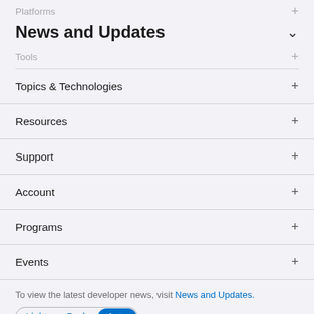Platforms +
News and Updates
Tools +
Topics & Technologies +
Resources +
Support +
Account +
Programs +
Events +
To view the latest developer news, visit News and Updates.
Light Dark Auto
Copyright © 2022 Apple Inc. All rights reserved. Terms of Use | Privacy Policy | Agreements and Guidelines